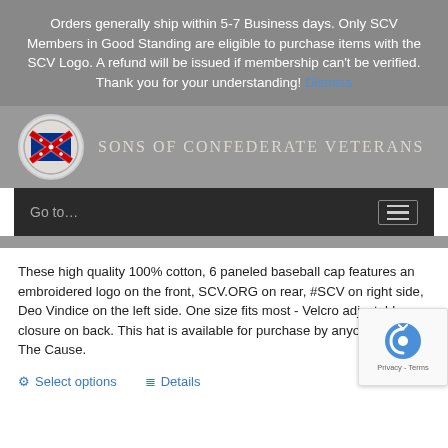Orders generally ship within 5-7 Business days. Only SCV Members in Good Standing are eligible to purchase items with the SCV Logo. A refund will be issued if membership can't be verified. Thank you for your understanding! Dismiss
[Figure (logo): Sons of Confederate Veterans logo with Confederate battle flag emblem in circular seal, accompanied by text SONS OF CONFEDERATE VETERANS]
Go to...
These high quality 100% cotton, 6 paneled baseball cap features an embroidered logo on the front, SCV.ORG on rear, #SCV on right side, Deo Vindice on the left side. One size fits most - Velcro adjustable closure on back. This hat is available for purchase by anyone supports The Cause.
Select options   Details